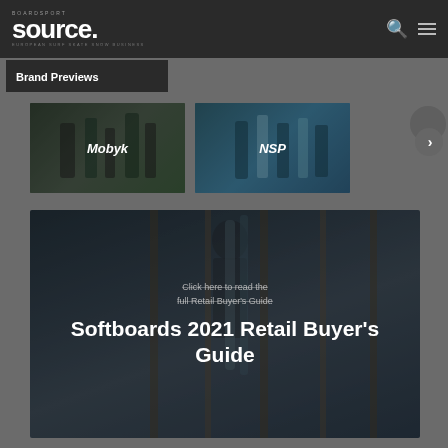BOARDSPORT SOURCE — European Surf/Skate/Snow Business
Brand Previews
[Figure (photo): Brand card for Mobyk showing surfers with surfboards on beach, dark overlay with Mobyk label]
[Figure (photo): Brand card for NSP showing people with surfboards, teal water background, dark overlay with NSP label]
[Figure (photo): Large feature image showing surfer holding boards with wooden structures in background, overlay text reading 'Click here to read the full Retail Buyer's Guide' and large heading 'Softboards 2021 Retail Buyer's Guide']
Click here to read the full Retail Buyer's Guide
Softboards 2021 Retail Buyer's Guide